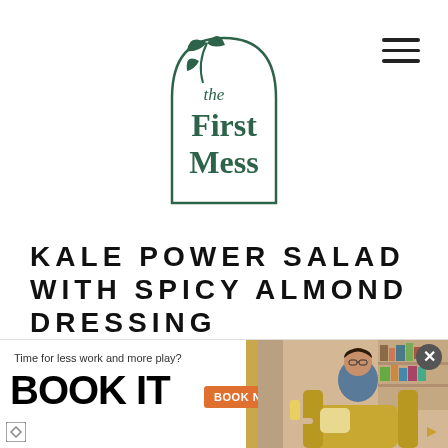[Figure (logo): The First Mess logo: an arch shape with a leaf/plant icon at top left, text 'the First Mess' inside in dark green serif/script fonts]
KALE POWER SALAD WITH SPICY ALMOND DRESSING
[Figure (infographic): Advertisement banner: 'Time for less work and more play? BOOK IT' with orange BOOK NOW button and photo of a person in living room setting]